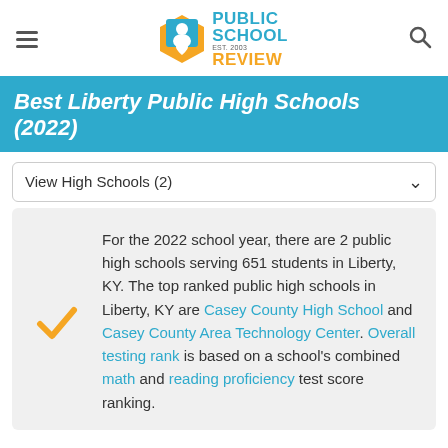Public School Review EST. 2003
Best Liberty Public High Schools (2022)
View High Schools (2)
For the 2022 school year, there are 2 public high schools serving 651 students in Liberty, KY. The top ranked public high schools in Liberty, KY are Casey County High School and Casey County Area Technology Center. Overall testing rank is based on a school's combined math and reading proficiency test score ranking.